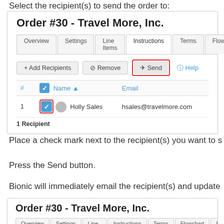Select the recipient(s) to send the order to:
[Figure (screenshot): Screenshot of Order #30 - Travel More, Inc. interface showing tabs (Overview, Settings, Line Items, Instructions, Terms, Flowch...), buttons (+ Add Recipients, Remove, Send [highlighted with red border], Help), and a recipients table with one row: 1, Holly Sales, hsales@travelmore.com. The Send button and the checkbox for Holly Sales are highlighted with red borders. Footer shows '1 Recipient'.]
Place a check mark next to the recipient(s) you want to s
Press the Send button.
Bionic will immediately email the recipient(s) and update
[Figure (screenshot): Second screenshot showing Order #30 - Travel More, Inc. with tabs: Overview, Settings, Line Items, Instructions, Terms, Flowchart, Recipi...]